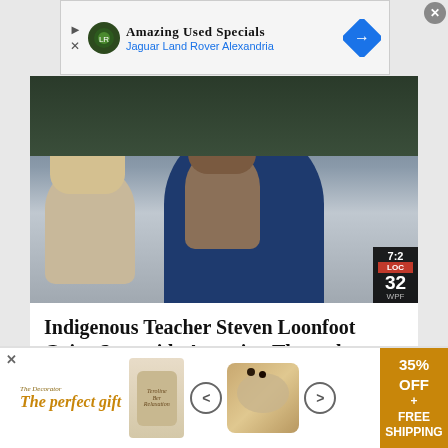[Figure (other): Ad banner for Jaguar Land Rover Alexandria with text 'Amazing Used Specials' and navigation arrow diamond icon]
[Figure (photo): Video thumbnail showing a teacher in a blue sweater with two children in a classroom setting, with a TV channel badge showing '7:2', 'LOC', '32', 'WP' in the bottom right corner]
Indigenous Teacher Steven Loonfoot Gains Statewide Attention Through Proud Educators Series
9&10 NEWS TOP STORIES
[Figure (photo): Bottom portion of a news story image showing an interior room with overhead lighting]
[Figure (other): Advertisement banner at bottom showing 'The perfect gift' with product images, navigation arrows, and '35% OFF + FREE SHIPPING' offer in gold/amber colors]